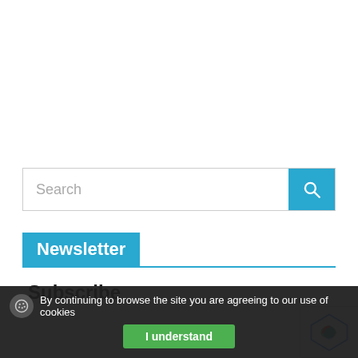[Figure (screenshot): Search bar with teal search button containing a magnifying glass icon]
Newsletter
Subscribe
[Figure (other): Partial reCAPTCHA badge visible at bottom right]
By continuing to browse the site you are agreeing to our use of cookies
I understand